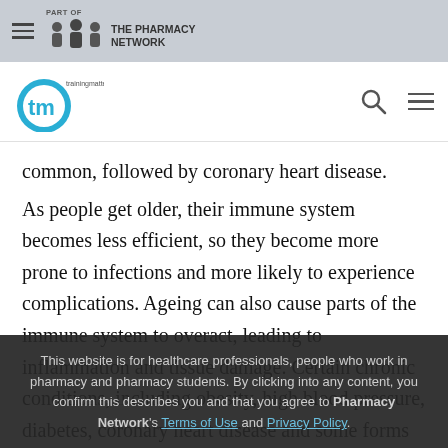Part of The Pharmacy Network | trainingmatters (tm logo)
common, followed by coronary heart disease.
As people get older, their immune system becomes less efficient, so they become more prone to infections and more likely to experience complications. Ageing can also cause parts of the immune system to overact, leading to inflammation and tissue damage. Certain chronic conditions, including obesity, high blood pressure, diabetes, coronary heart disease and some forms of dementia, have been linked to age-related inflammation. In the case of Covid-19, the immune system's response
This website is for healthcare professionals, people who work in pharmacy and pharmacy students. By clicking into any content, you confirm this describes you and that you agree to Pharmacy Network's Terms of Use and Privacy Policy.